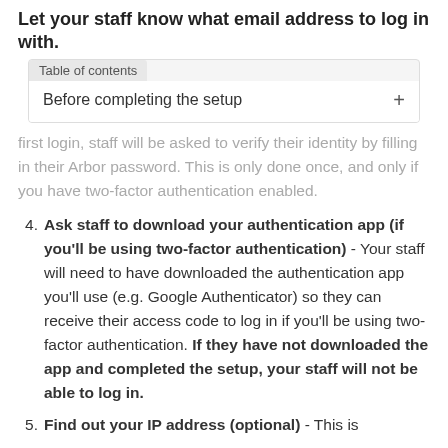Let your staff know what email address to log in with.
Table of contents
Before completing the setup
first login, staff will be asked to verify their identity by filling in their Arbor password. This is only done once, and only if you have two-factor authentication enabled.
4. Ask staff to download your authentication app (if you'll be using two-factor authentication) - Your staff will need to have downloaded the authentication app you'll use (e.g. Google Authenticator) so they can receive their access code to log in if you'll be using two-factor authentication. If they have not downloaded the app and completed the setup, your staff will not be able to log in.
5. Find out your IP address (optional) - This is